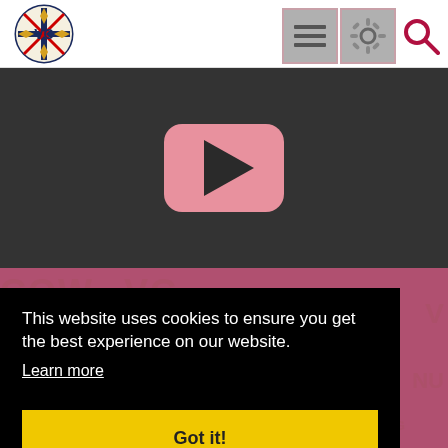[Figure (logo): VC logo with Union Jack compass rose design]
[Figure (other): Hamburger menu icon button (three horizontal lines) with pink border]
[Figure (other): Settings/gear icon button with pink border]
[Figure (other): Search/magnifying glass icon in dark red/crimson]
[Figure (screenshot): Dark gray video player area with pink rounded YouTube-style play button in the center]
[Figure (other): Pink background watermark area with text COW, VC, MADE IN ENGLAND repeated]
This website uses cookies to ensure you get the best experience on our website.
Learn more
Got it!
LEICESTER